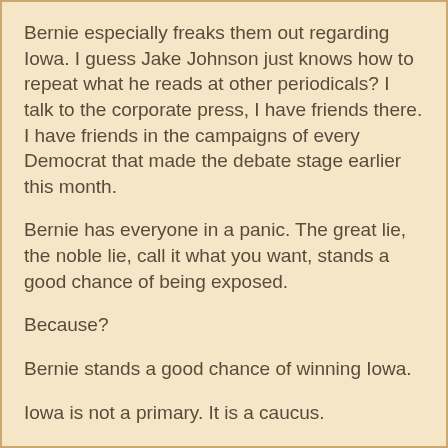Bernie especially freaks them out regarding Iowa.  I guess Jake Johnson just knows how to repeat what he reads at other periodicals?  I talk to the corporate press, I have friends there.  I have friends in the campaigns of every Democrat that made the debate stage earlier this month.
Bernie has everyone in a panic.  The great lie, the noble lie, call it what you want, stands a good chance of being exposed.
Because?
Bernie stands a good chance of winning Iowa.
Iowa is not a primary.  It is a caucus.
It's about endurance and it's about support and Bernie has both.